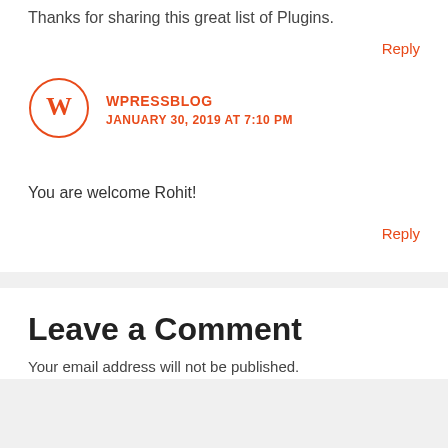Thanks for sharing this great list of Plugins.
Reply
WPRESSBLOG
JANUARY 30, 2019 AT 7:10 PM
You are welcome Rohit!
Reply
Leave a Comment
Your email address will not be published.